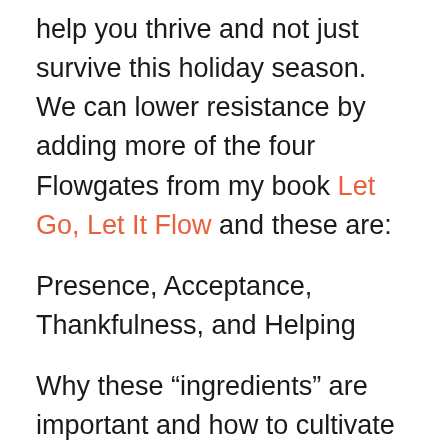help you thrive and not just survive this holiday season.  We can lower resistance by adding more of the four Flowgates from my book Let Go, Let It Flow and these are:
Presence, Acceptance, Thankfulness, and Helping
Why these “ingredients” are important and how to cultivate these in your life is as follows:
Presence: How are you showing up, are you really here? Or are you fixated on